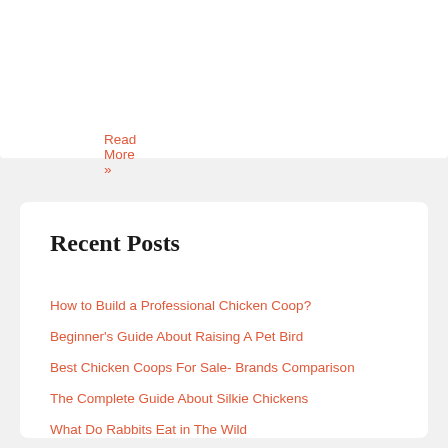Read More »
Recent Posts
How to Build a Professional Chicken Coop?
Beginner's Guide About Raising A Pet Bird
Best Chicken Coops For Sale- Brands Comparison
The Complete Guide About Silkie Chickens
What Do Rabbits Eat in The Wild